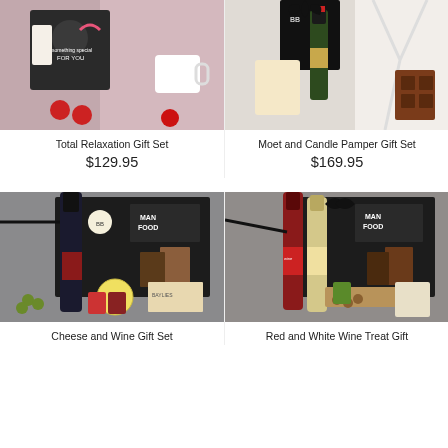[Figure (photo): Total Relaxation Gift Set product photo showing a pink blanket, macarons, mug, candle and a 'something special for you' box]
[Figure (photo): Moet and Candle Pamper Gift Set product photo showing Moet champagne bottle, white robe, candle and chocolates]
Total Relaxation Gift Set
$129.95
Moet and Candle Pamper Gift Set
$169.95
[Figure (photo): Cheese and Wine Gift Set product photo showing red wine bottle, cheese, crackers, dips and gourmet food items on dark background]
[Figure (photo): Red and White Wine Treat Gift product photo showing red and white wine bottles with gourmet food items on dark background]
Cheese and Wine Gift Set
Red and White Wine Treat Gift